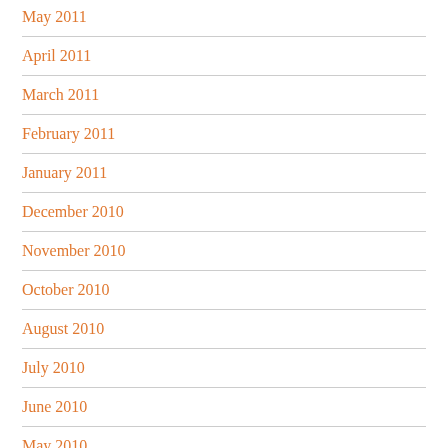May 2011
April 2011
March 2011
February 2011
January 2011
December 2010
November 2010
October 2010
August 2010
July 2010
June 2010
May 2010